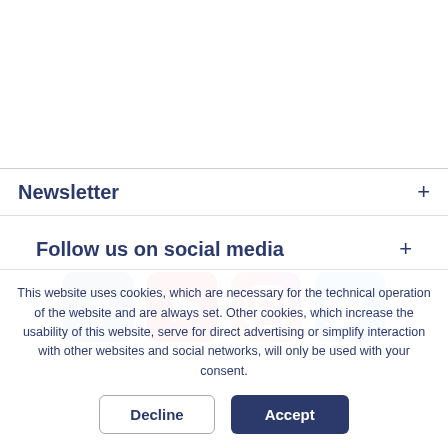Newsletter +
Follow us on social media +
[Figure (logo): Social media icons: Facebook, YouTube, Instagram, Twitter]
This website uses cookies, which are necessary for the technical operation of the website and are always set. Other cookies, which increase the usability of this website, serve for direct advertising or simplify interaction with other websites and social networks, will only be used with your consent.
Decline
Accept